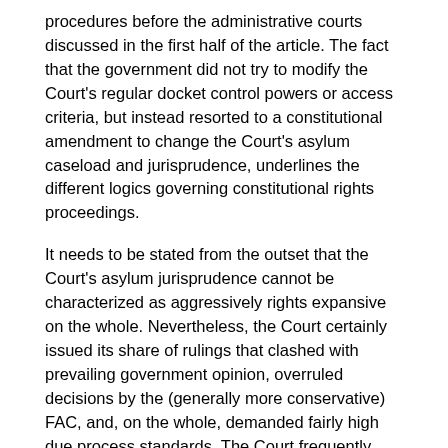procedures before the administrative courts discussed in the first half of the article. The fact that the government did not try to modify the Court's regular docket control powers or access criteria, but instead resorted to a constitutional amendment to change the Court's asylum caseload and jurisprudence, underlines the different logics governing constitutional rights proceedings.
It needs to be stated from the outset that the Court's asylum jurisprudence cannot be characterized as aggressively rights expansive on the whole. Nevertheless, the Court certainly issued its share of rulings that clashed with prevailing government opinion, overruled decisions by the (generally more conservative) FAC, and, on the whole, demanded fairly high due process standards. The Court frequently reminded the government of its obligations under the constitutional asylum provision, which was to be interpreted broadly in light of Germany's Nazi past (Joppke 1999). Landmark rulings have limited the state's ability to deport foreigners; affirmed that religious persecution was a valid ground for granting